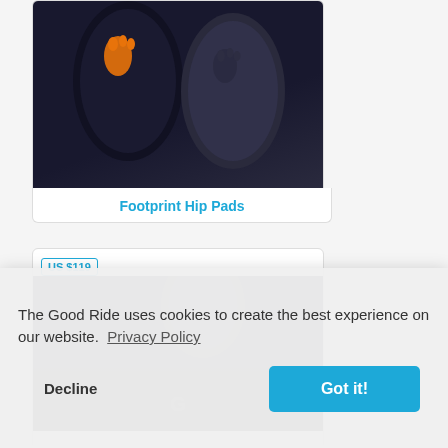[Figure (photo): Two black hip pads side by side - one with an orange footprint logo on the left, one plain dark on the right]
Footprint Hip Pads
US $119
[Figure (photo): Partial view of another protective pad product, mostly obscured by cookie consent overlay]
The Good Ride uses cookies to create the best experience on our website.  Privacy Policy
Decline
Got it!